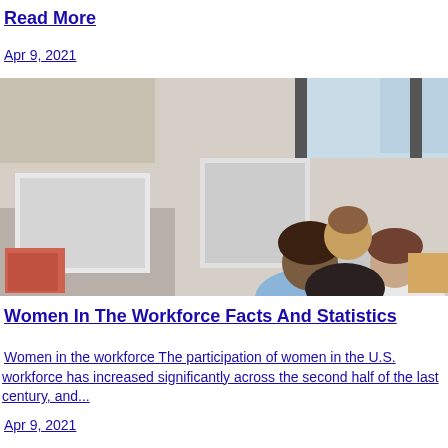Read More
Apr 9, 2021
[Figure (photo): Three women in an office workspace looking at a tablet together, smiling. Two are seated and one is standing behind. Computers and office supplies visible in background.]
Women In The Workforce Facts And Statistics
Women in the workforce The participation of women in the U.S. workforce has increased significantly across the second half of the last century, and...
Apr 9, 2021